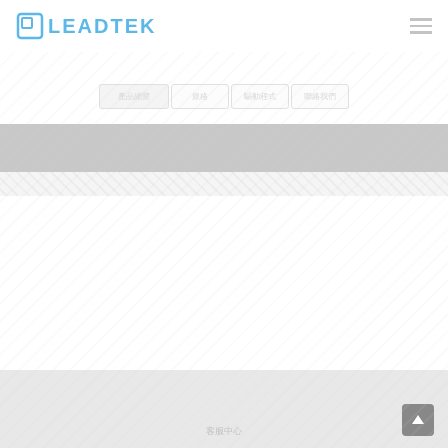LEADTEK
[Figure (screenshot): Navigation tabs with Chinese text labels]
[Figure (screenshot): Gray banner bar]
注意事項
（繁體中文文字內容，注意事項第一條說明）
（繁體中文文字內容，注意事項第二條說明，較長的一行文字）
（繁體中文文字內容，注意事項第三條說明文字內容）
（繁體中文文字內容，注意事項第四條）
客服中心